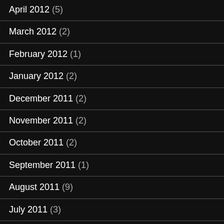April 2012 (5)
March 2012 (2)
February 2012 (1)
January 2012 (2)
December 2011 (2)
November 2011 (2)
October 2011 (2)
September 2011 (1)
August 2011 (9)
July 2011 (3)
June 2011 (6)
March 2011 (1)
January 2011 (2)